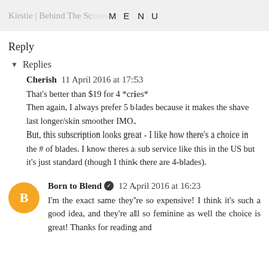Kirstie | Behind The Scenes  MENU
Reply
▾ Replies
Cherish  11 April 2016 at 17:53
That's better than $19 for 4 *cries*
Then again, I always prefer 5 blades because it makes the shave last longer/skin smoother IMO.
But, this subscription looks great - I like how there's a choice in the # of blades. I know theres a sub service like this in the US but it's just standard (though I think there are 4-blades).
Born to Blend ✔ 12 April 2016 at 16:23
I'm the exact same they're so expensive! I think it's such a good idea, and they're all so feminine as well the choice is great! Thanks for reading and